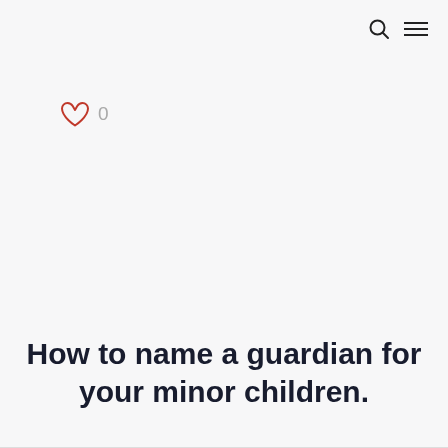search and menu icons
[Figure (illustration): Heart outline icon (red/crimson) followed by the number 0 in gray, representing a like counter with zero likes.]
How to name a guardian for your minor children.